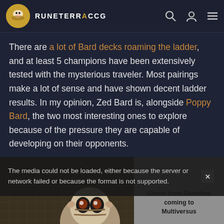RUNETERRACCG
There are a lot of Bard decks roaming the ladder, and at least 5 champions have been extensively tested with the mysterious traveler. Most pairings make a lot of sense and have shown decent ladder results. In my opinion, Zed Bard is, alongside Poppy Bard, the two most interesting ones to explore because of the pressure they are capable of developing on their opponents.
[Figure (screenshot): Media error overlay on top of a game screenshot, with text: The media could not be loaded, either because the server or network failed or because the format is not supported. A Gizmo from Gremlins coming to Multiversus advertisement panel appears to the right. A large X close button is visible.]